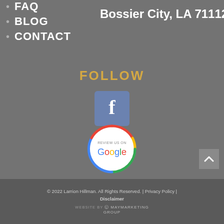FAQ
BLOG
CONTACT
Bossier City, LA 71112
FOLLOW
[Figure (logo): Facebook icon - blue-grey rounded square with white letter f]
[Figure (logo): Review us on Google circular badge with Google logo and colored ring]
[Figure (other): Scroll to top arrow button]
© 2022 Larrion Hillman. All Rights Reserved. | Privacy Policy | Disclaimer
WEBSITE BY maymarketing GROUP